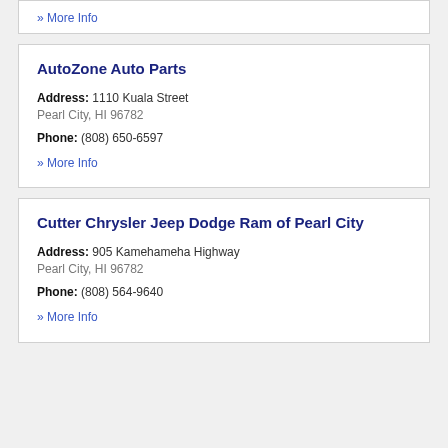» More Info
AutoZone Auto Parts
Address: 1110 Kuala Street
Pearl City, HI 96782
Phone: (808) 650-6597
» More Info
Cutter Chrysler Jeep Dodge Ram of Pearl City
Address: 905 Kamehameha Highway
Pearl City, HI 96782
Phone: (808) 564-9640
» More Info